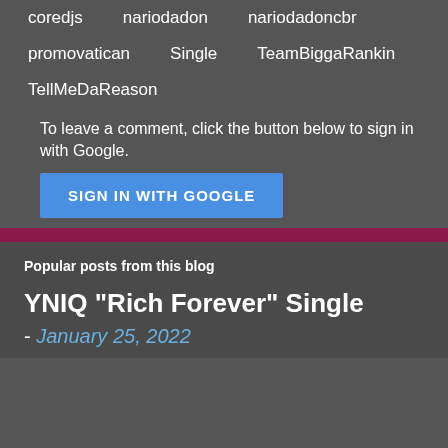coredjs    nariodadon    nariodadoncbr
promovatican    Single    TeamBiggaRankin
TellMeDaReason
To leave a comment, click the button below to sign in with Google.
SIGN IN WITH GOOGLE
Popular posts from this blog
YNIQ "Rich Forever" Single
- January 25, 2022